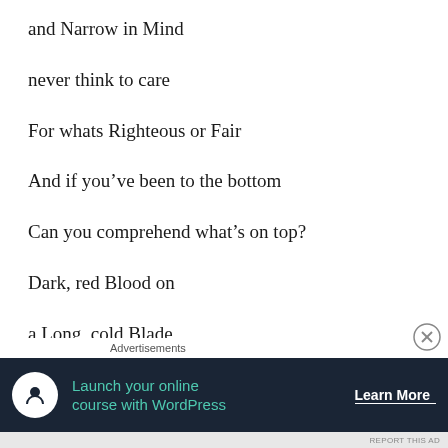and Narrow in Mind
never think to care
For whats Righteous or Fair
And if you’ve been to the bottom
Can you comprehend what’s on top?
Dark, red Blood on
a Long, cold Blade
and All of the Ghosts
Suddenly
Advertisements
[Figure (infographic): Advertisement banner: Launch your online course with WordPress. Learn More button. Dark navy background with teal text and white circle icon.]